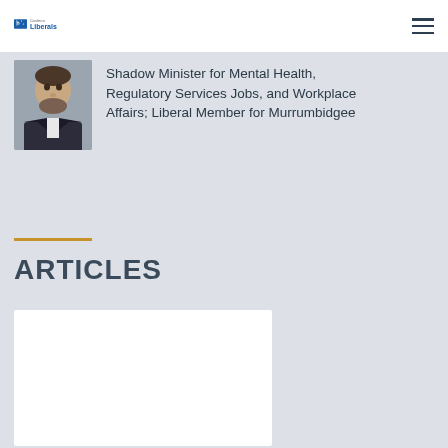Canberra Liberals
[Figure (photo): Headshot of a man with dark beard wearing a dark suit jacket]
Shadow Minister for Mental Health, Regulatory Services Jobs, and Workplace Affairs; Liberal Member for Murrumbidgee
ARTICLES
[Figure (photo): Article card image placeholder (white rectangle)]